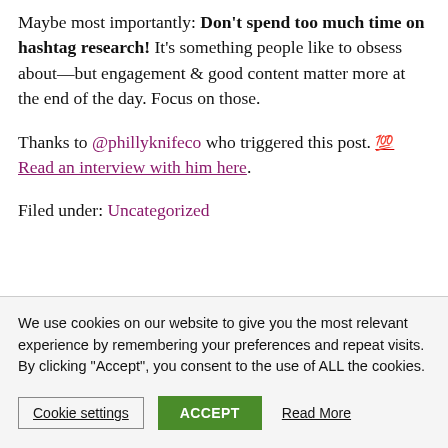Maybe most importantly: Don't spend too much time on hashtag research! It's something people like to obsess about—but engagement & good content matter more at the end of the day. Focus on those.
Thanks to @phillyknifeco who triggered this post. 💯 Read an interview with him here.
Filed under: Uncategorized
← Previous Post ... Next Post →
We use cookies on our website to give you the most relevant experience by remembering your preferences and repeat visits. By clicking "Accept", you consent to the use of ALL the cookies.
Cookie settings | ACCEPT | Read More